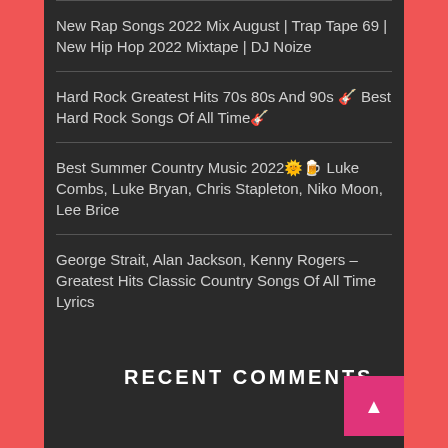New Rap Songs 2022 Mix August | Trap Tape 69 | New Hip Hop 2022 Mixtape | DJ Noize
Hard Rock Greatest Hits 70s 80s And 90s 🎸 Best Hard Rock Songs Of All Time🎸
Best Summer Country Music 2022🌞🍺 Luke Combs, Luke Bryan, Chris Stapleton, Niko Moon, Lee Brice
George Strait, Alan Jackson, Kenny Rogers – Greatest Hits Classic Country Songs Of All Time Lyrics
RECENT COMMENTS